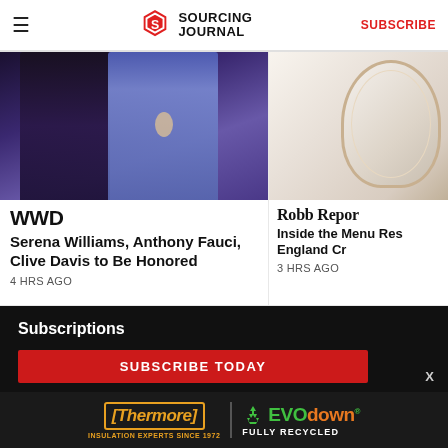Sourcing Journal — SUBSCRIBE
[Figure (photo): Two women in formal dresses, one in dark sequined dress and one in purple satin gown]
WWD
Serena Williams, Anthony Fauci, Clive Davis to Be Honored
4 HRS AGO
[Figure (photo): Partial view of a white and gold plate or dish, cropped on right side]
Robb Repor
Inside the Menu Res England Cr
3 HRS AGO
Subscriptions
SUBSCRIBE TODAY
[Figure (advertisement): Thermore Insulation Experts Since 1972 — EVO down FULLY RECYCLED advertisement banner]